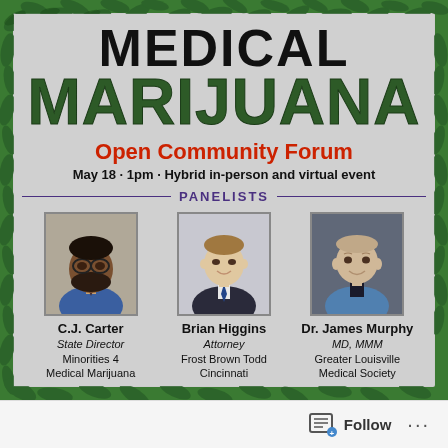MEDICAL MARIJUANA
Open Community Forum
May 18 · 1pm · Hybrid in-person and virtual event
PANELISTS
[Figure (photo): Photo of C.J. Carter, a Black man with glasses and a beard wearing a blue suit]
C.J. Carter
State Director
Minorities 4
Medical Marijuana
[Figure (photo): Photo of Brian Higgins, a young white man in a suit with a tie]
Brian Higgins
Attorney
Frost Brown Todd
Cincinnati
[Figure (photo): Photo of Dr. James Murphy, an older white man wearing blue medical scrubs]
Dr. James Murphy
MD, MMM
Greater Louisville
Medical Society
Follow ...